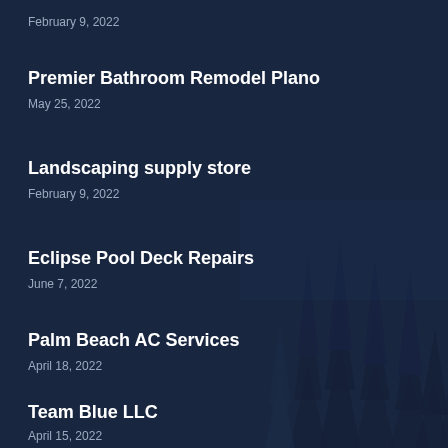February 9, 2022
Premier Bathroom Remodel Plano
May 25, 2022
Landscaping supply store
February 9, 2022
Eclipse Pool Deck Repairs
June 7, 2022
Palm Beach AC Services
April 18, 2022
Team Blue LLC
April 15, 2022